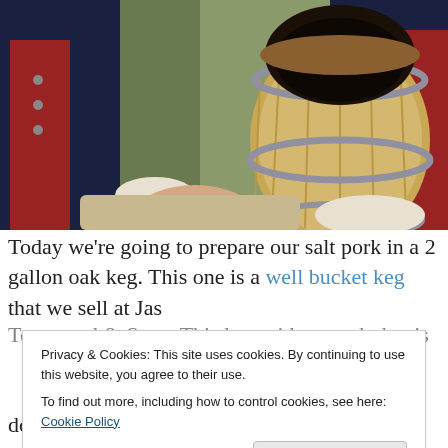[Figure (photo): A person in a red and blue colonial-era military uniform holds a wooden lid over a small oak keg/barrel. The keg is tilted, showing its open top. The background is outdoors with blurred foliage.]
Today we're going to prepare our salt pork in a 2 gallon oak keg. This one is a well bucket keg that we sell at Jas Townsend & Sons. This keg with a notch that is drilled in it...
Privacy & Cookies: This site uses cookies. By continuing to use this website, you agree to their use.
To find out more, including how to control cookies, see here: Cookie Policy
Close and accept
down on the pork and keep it inside the brine solution.